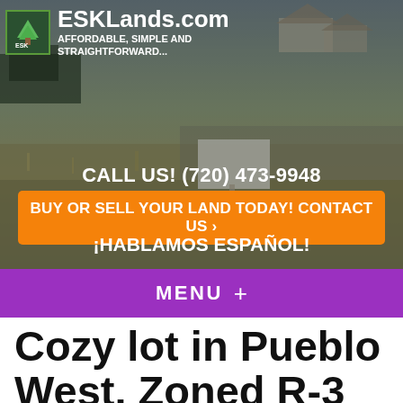[Figure (screenshot): ESKLands.com website header with photo background showing vacant land and houses, logo with green tree icon, site title ESKLands.com, tagline AFFORDABLE, SIMPLE AND STRAIGHTFORWARD...]
CALL US! (720) 473-9948
BUY OR SELL YOUR LAND TODAY! CONTACT US ›
¡HABLAMOS ESPAÑOL!
MENU  +
Cozy lot in Pueblo West. Zoned R-3 allows one or two residences! SOLD